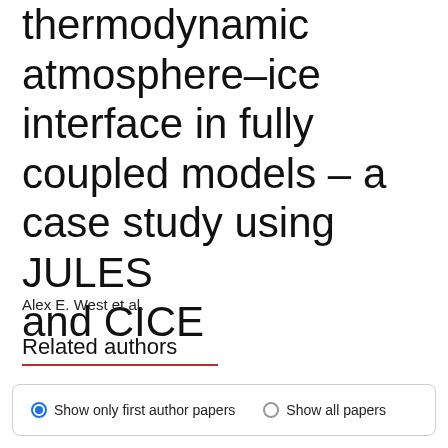thermodynamic atmosphere–ice interface in fully coupled models – a case study using JULES and CICE
Alex E. West et al.
Related authors
Show only first author papers   Show all papers